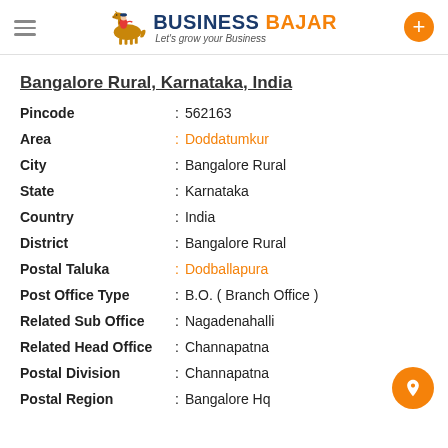BUSINESS BAJAR — Let's grow your Business
Bangalore Rural, Karnataka, India
Pincode : 562163
Area : Doddatumkur
City : Bangalore Rural
State : Karnataka
Country : India
District : Bangalore Rural
Postal Taluka : Dodballapura
Post Office Type : B.O. ( Branch Office )
Related Sub Office : Nagadenahalli
Related Head Office : Channapatna
Postal Division : Channapatna
Postal Region : Bangalore Hq